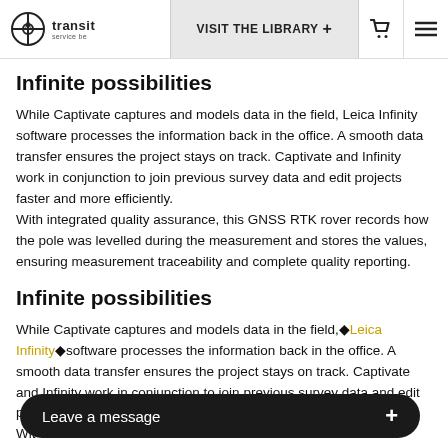transit | VISIT THE LIBRARY +
Infinite possibilities
While Captivate captures and models data in the field, Leica Infinity software processes the information back in the office. A smooth data transfer ensures the project stays on track. Captivate and Infinity work in conjunction to join previous survey data and edit projects faster and more efficiently.
With integrated quality assurance, this GNSS RTK rover records how the pole was levelled during the measurement and stores the values, ensuring measurement traceability and complete quality reporting.
Infinite possibilities
While Captivate captures and models data in the field,◆Leica Infinity◆software processes the information back in the office. A smooth data transfer ensures the project stays on track. Captivate and Infinity work in conjunction to join previous survey data and edit projects faster and more efficiently.
With integrated quality assurance, this GNSS RTK rover records how the pole was levelled during the measurement
[Figure (screenshot): Dark toast notification bar at the bottom reading 'Leave a message +']